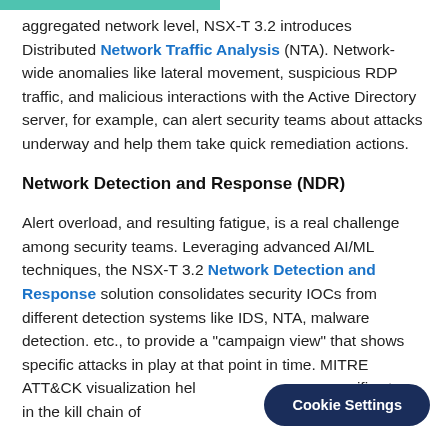aggregated network level, NSX-T 3.2 introduces Distributed Network Traffic Analysis (NTA). Network-wide anomalies like lateral movement, suspicious RDP traffic, and malicious interactions with the Active Directory server, for example, can alert security teams about attacks underway and help them take quick remediation actions.
Network Detection and Response (NDR)
Alert overload, and resulting fatigue, is a real challenge among security teams. Leveraging advanced AI/ML techniques, the NSX-T 3.2 Network Detection and Response solution consolidates security IOCs from different detection systems like IDS, NTA, malware detection. etc., to provide a "campaign view" that shows specific attacks in play at that point in time. MITRE ATT&CK visualization helps understand the specific stage in the kill chain of